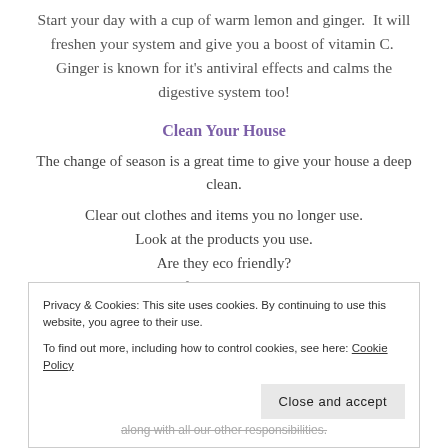Start your day with a cup of warm lemon and ginger.  It will freshen your system and give you a boost of vitamin C.  Ginger is known for it's antiviral effects and calms the digestive system too!
Clean Your House
The change of season is a great time to give your house a deep clean.
Clear out clothes and items you no longer use.
Look at the products you use.
Are they eco friendly?
How good for your health are they?
Privacy & Cookies: This site uses cookies. By continuing to use this website, you agree to their use.
To find out more, including how to control cookies, see here: Cookie Policy
Close and accept
along with all our other responsibilities.